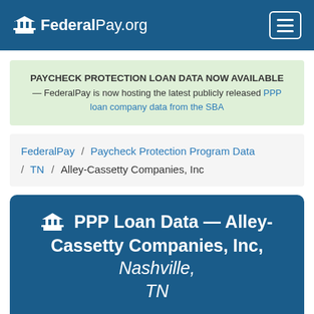FederalPay.org
PAYCHECK PROTECTION LOAN DATA NOW AVAILABLE — FederalPay is now hosting the latest publicly released PPP loan company data from the SBA
FederalPay / Paycheck Protection Program Data / TN / Alley-Cassetty Companies, Inc
PPP Loan Data — Alley-Cassetty Companies, Inc, Nashville, TN
Alley-Cassetty Companies, Inc